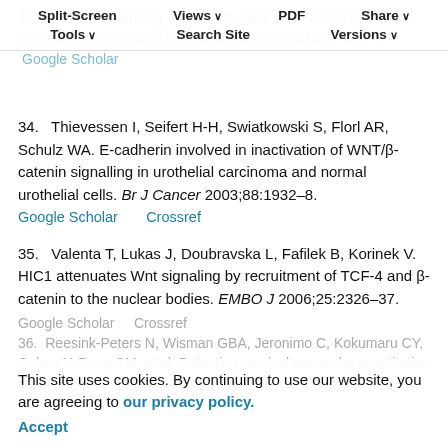Split-Screen   Views   PDF   Share   Tools   Search Site   Versions
activation and silencing of the APC gene in HPV-positive human cervical cancer-derived cells. Mol Med Rep 2018;17:200–8. Google Scholar
34.   Thievessen I, Seifert H-H, Swiatkowski S, Florl AR, Schulz WA. E-cadherin involved in inactivation of WNT/β-catenin signalling in urothelial carcinoma and normal urothelial cells. Br J Cancer 2003;88:1932–8. Google Scholar   Crossref
35.   Valenta T, Lukas J, Doubravska L, Fafilek B, Korinek V. HIC1 attenuates Wnt signaling by recruitment of TCF-4 and β-catenin to the nuclear bodies. EMBO J 2006;25:2326–37. Google Scholar   Crossref
36.   Reesink-Peters N, Wisman GBA, Jeronimo C, Tokumaru CY, Cohen Y, Dong SM, et al. Detecting cervical cancer by quantitative promoter
This site uses cookies. By continuing to use our website, you are agreeing to our privacy policy. Accept